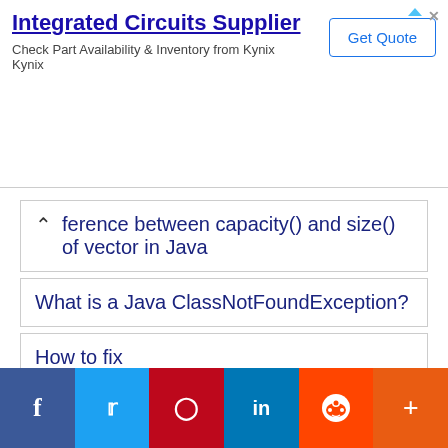[Figure (other): Advertisement banner: Integrated Circuits Supplier. Check Part Availability & Inventory from Kynix Kynix. Get Quote button.]
...ference between capacity() and size() of vector in Java
What is a Java ClassNotFoundException?
How to fix java.lang.UnsupportedClassVersionError
[Figure (other): Social sharing bar with Facebook, Twitter, Pinterest, LinkedIn, Reddit, and More buttons]